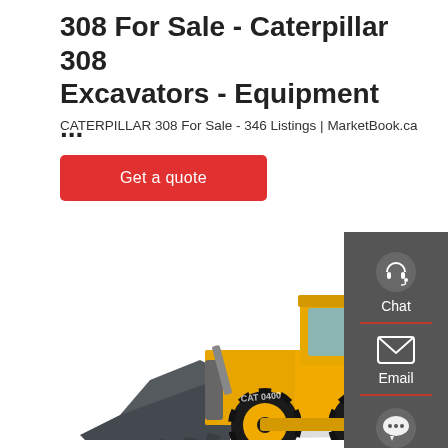308 For Sale - Caterpillar 308 Excavators - Equipment ...
CATERPILLAR 308 For Sale - 346 Listings | MarketBook.ca
Get a quote
[Figure (photo): Yellow Caterpillar wheel loader with black bucket on white background]
[Figure (infographic): Dark grey sidebar with Chat, Email, and Contact icons and labels]